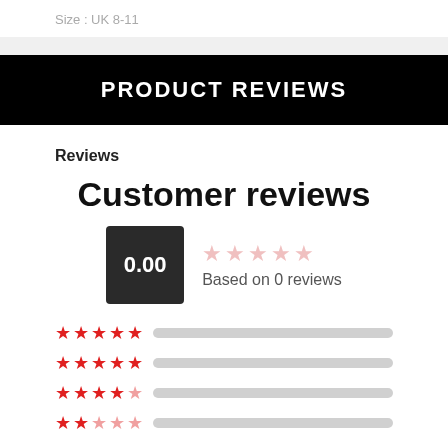Size : UK 8-11
PRODUCT REVIEWS
Reviews
Customer reviews
0.00
Based on 0 reviews